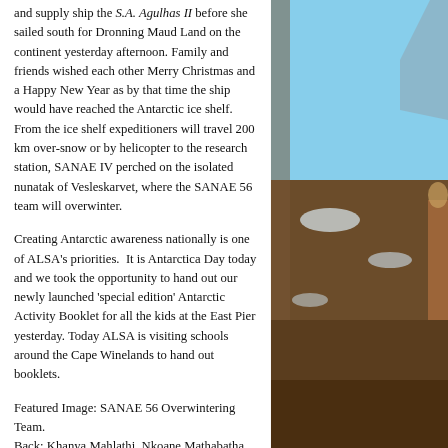[Figure (photo): Rocky Antarctic landscape with snow patches and a person partially visible on the right side, blue sky in background.]
and supply ship the S.A. Agulhas II before she sailed south for Dronning Maud Land on the continent yesterday afternoon. Family and friends wished each other Merry Christmas and a Happy New Year as by that time the ship would have reached the Antarctic ice shelf. From the ice shelf expeditioners will travel 200 km over-snow or by helicopter to the research station, SANAE IV perched on the isolated nunatak of Vesleskarvet, where the SANAE 56 team will overwinter.
Creating Antarctic awareness nationally is one of ALSA’s priorities. It is Antarctica Day today and we took the opportunity to hand out our newly launched ‘special edition’ Antarctic Activity Booklet for all the kids at the East Pier yesterday. Today ALSA is visiting schools around the Cape Winelands to hand out booklets.
Featured Image: SANAE 56 Overwintering Team. Back: Khanya Mahlathi, Nkoane Mathabatha, Innocent Mthethwa, Danielle Taljaard, Themba Luphuwana, Ben Van der Walt (the chaplain who will be spending take-over with